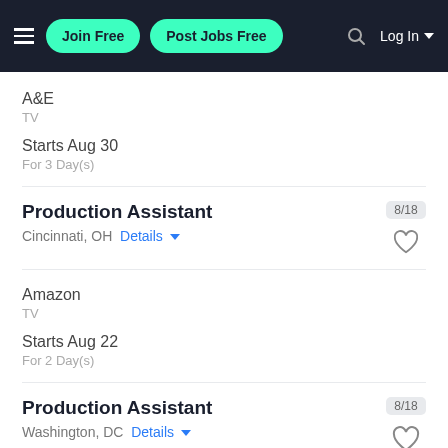Join Free | Post Jobs Free | Log In
A&E
TV
Starts Aug 30
For 3 Day(s)
Production Assistant
Cincinnati, OH  Details
8/18
Amazon
TV
Starts Aug 22
For 2 Day(s)
Production Assistant
Washington, DC  Details
8/18